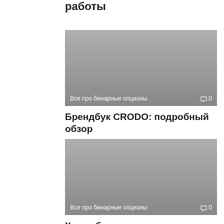работы
[Figure (photo): Gray placeholder image with overlay showing category 'Все про бинарные опционы' and comment count '0']
Брендбук CRODO: подробный обзор
[Figure (photo): Gray placeholder image with overlay showing category 'Все про бинарные опционы' and comment count '0']
Как добавить проект на лаунчпад